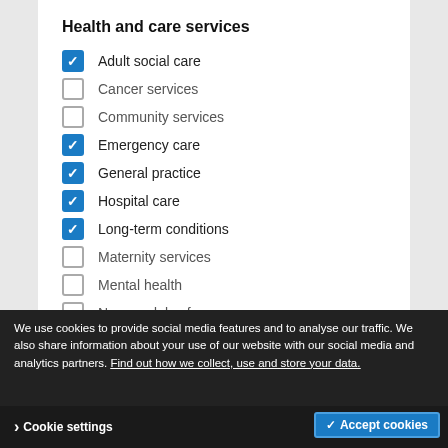Health and care services
Adult social care (checked)
Cancer services (unchecked)
Community services (unchecked)
Emergency care (checked)
General practice (checked)
Hospital care (checked)
Long-term conditions (checked)
Maternity services (unchecked)
Mental health (unchecked)
New models of care (unchecked)
Public health (unchecked, partially obscured)
Sexual health care (partially obscured)
Leadership, systems and organisation (partially obscured)
Clinical commissioning grou... (partially obscured)
We use cookies to provide social media features and to analyse our traffic. We also share information about your use of our website with our social media and analytics partners. Find out how we collect, use and store your data.
Cookie settings
✓ Accept cookies